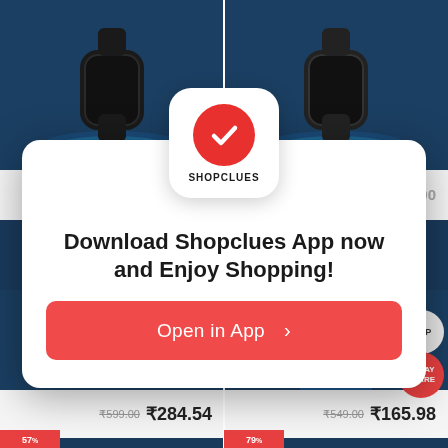[Figure (screenshot): Shopclues e-commerce app download prompt modal overlay on a shopping website showing product listings with prices ₹699.00, ₹284.54, ₹165.98. Modal contains Shopclues logo, headline 'Download Shopclues App now and Enjoy Shopping!', red 'Open in App >' button, and 'No Thanks, I'd like to use mobile web.' link.]